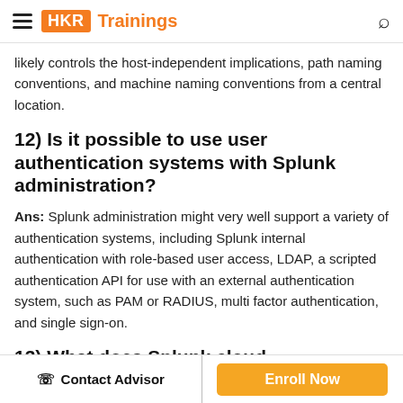HKR Trainings
likely controls the host-independent implications, path naming conventions, and machine naming conventions from a central location.
12) Is it possible to use user authentication systems with Splunk administration?
Ans: Splunk administration might very well support a variety of authentication systems, including Splunk internal authentication with role-based user access, LDAP, a scripted authentication API for use with an external authentication system, such as PAM or RADIUS, multi factor authentication, and single sign-on.
13) What does Splunk cloud administration entail?
Contact Advisor | Enroll Now